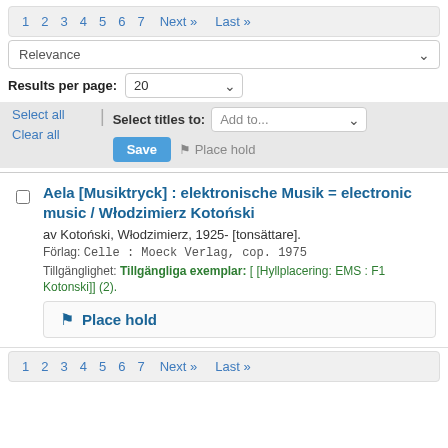1 2 3 4 5 6 7 Next » Last »
Relevance
Results per page: 20
Select all | Select titles to: Add to...
Clear all  Save  Place hold
Aela [Musiktryck] : elektronische Musik = electronic music / Włodzimierz Kotoński
av Kotoński, Włodzimierz, 1925- [tonsättare].
Förlag: Celle : Moeck Verlag, cop. 1975
Tillgänglighet: Tillgängliga exemplar: [ [Hyllplacering: EMS : F1 Kotonski]] (2).
Place hold
1 2 3 4 5 6 7 Next » Last »